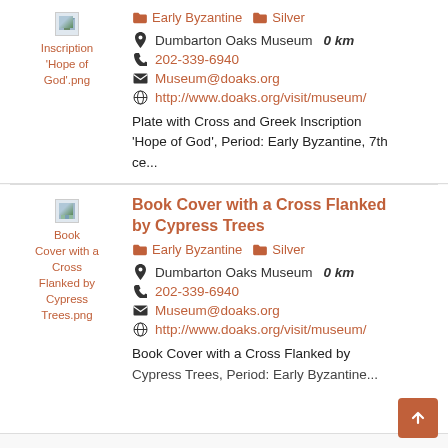[Figure (other): Thumbnail image placeholder for Inscription Hope of God.png]
Early Byzantine   Silver
Dumbarton Oaks Museum   0 km
202-339-6940
Museum@doaks.org
http://www.doaks.org/visit/museum/
Plate with Cross and Greek Inscription 'Hope of God', Period: Early Byzantine, 7th ce...
[Figure (other): Thumbnail image placeholder for Book Cover with a Cross Flanked by Cypress Trees.png]
Book Cover with a Cross Flanked by Cypress Trees
Early Byzantine   Silver
Dumbarton Oaks Museum   0 km
202-339-6940
Museum@doaks.org
http://www.doaks.org/visit/museum/
Book Cover with a Cross Flanked by Cypress Trees, Period: Early Byzantine...